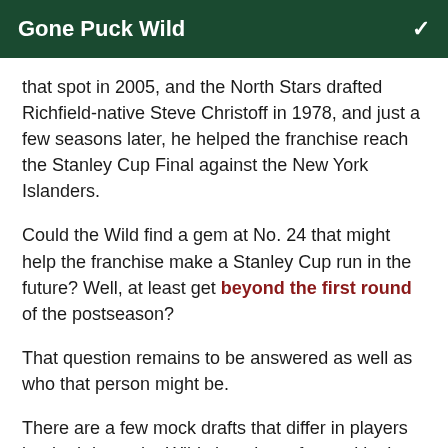Gone Puck Wild
that spot in 2005, and the North Stars drafted Richfield-native Steve Christoff in 1978, and just a few seasons later, he helped the franchise reach the Stanley Cup Final against the New York Islanders.
Could the Wild find a gem at No. 24 that might help the franchise make a Stanley Cup run in the future? Well, at least get beyond the first round of the postseason?
That question remains to be answered as well as who that person might be.
There are a few mock drafts that differ in players but both have the Wild choosing a forward in the spot.